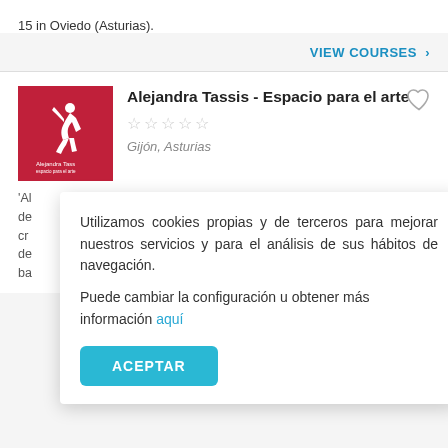15 in Oviedo (Asturias).
VIEW COURSES >
Alejandra Tassis - Espacio para el arte
Gijón, Asturias
'Al de cr de ba
Utilizamos cookies propias y de terceros para mejorar nuestros servicios y para el análisis de sus hábitos de navegación.
Puede cambiar la configuración u obtener más información aquí
ACEPTAR